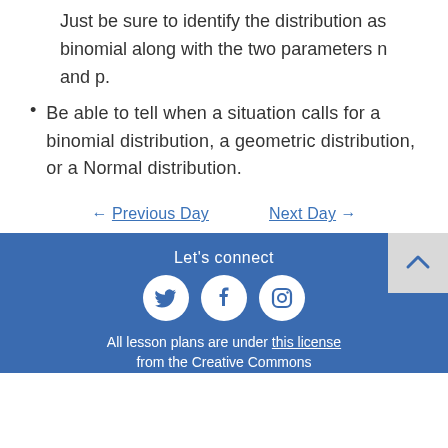Just be sure to identify the distribution as binomial along with the two parameters n and p.
Be able to tell when a situation calls for a binomial distribution, a geometric distribution, or a Normal distribution.
← Previous Day   Next Day →
Let's connect
[Figure (infographic): Social media icons: Twitter, Facebook, Instagram (white circles on blue background)]
All lesson plans are under this license from the Creative Commons